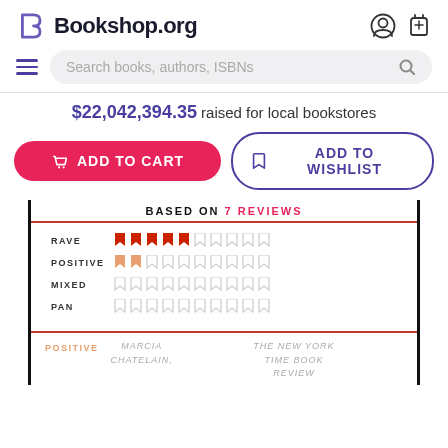Bookshop.org
Search books, authors, ISBNs
$22,042,394.35 raised for local bookstores
ADD TO CART
ADD TO WISHLIST
BASED ON 7 REVIEWS
RAVE - 5 filled flags
POSITIVE - 2 filled flags
MIXED - 0 filled flags
PAN - 0 filled flags
POSITIVE   MARCIA CHATELAIN,   THE NEW YORK TIME BOOK REVIEW